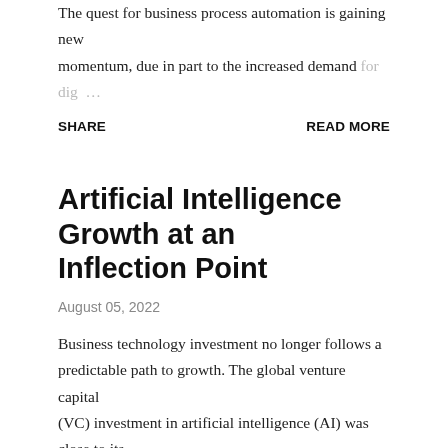The quest for business process automation is gaining new momentum, due in part to the increased demand for dig…
SHARE      READ MORE
Artificial Intelligence Growth at an Inflection Point
August 05, 2022
Business technology investment no longer follows a predictable path to growth. The global venture capital (VC) investment in artificial intelligence (AI) was close to its peak in 2021 reaching $22.3 billion, according to the late…
SHARE      READ MORE